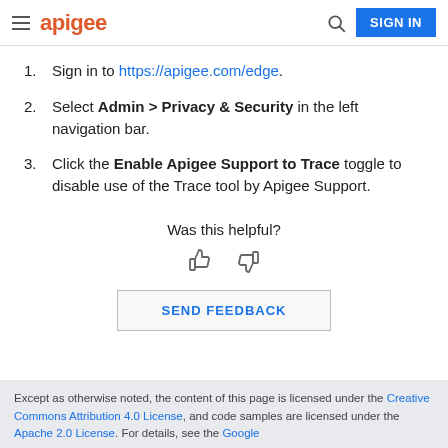apigee  SIGN IN
1. Sign in to https://apigee.com/edge.
2. Select Admin > Privacy & Security in the left navigation bar.
3. Click the Enable Apigee Support to Trace toggle to disable use of the Trace tool by Apigee Support.
Was this helpful?
SEND FEEDBACK
Except as otherwise noted, the content of this page is licensed under the Creative Commons Attribution 4.0 License, and code samples are licensed under the Apache 2.0 License. For details, see the Google